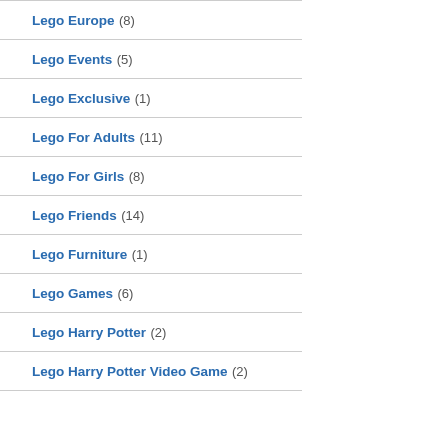Lego Europe (8)
Lego Events (5)
Lego Exclusive (1)
Lego For Adults (11)
Lego For Girls (8)
Lego Friends (14)
Lego Furniture (1)
Lego Games (6)
Lego Harry Potter (2)
Lego Harry Potter Video Game (2)